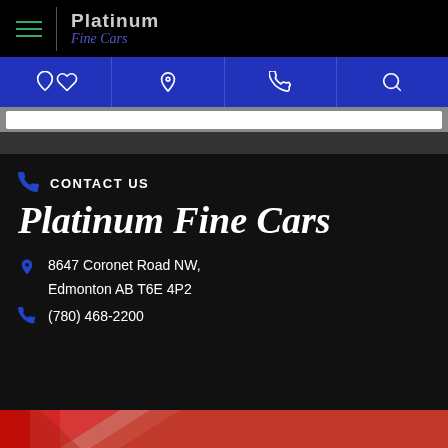[Figure (logo): Platinum Fine Cars logo with hamburger menu on black navbar]
[Figure (screenshot): Blue icon bar with heart, location pin, phone, and search icons]
CONTACT US
Platinum Fine Cars
8647 Coronet Road NW, Edmonton AB T6E 4P2
(780) 468-2200